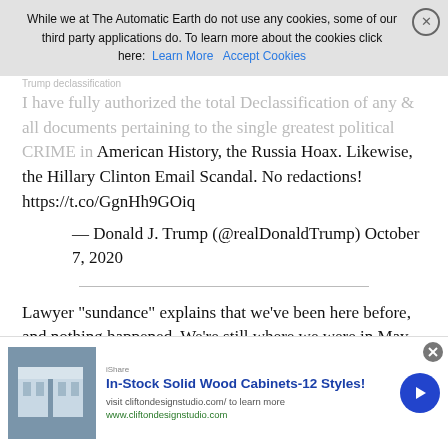While we at The Automatic Earth do not use any cookies, some of our third party applications do. To learn more about the cookies click here: Learn More  Accept Cookies
I have fully authorized the total Declassification of any & all documents pertaining to the single greatest political CRIME in American History, the Russia Hoax. Likewise, the Hillary Clinton Email Scandal. No redactions! https://t.co/GgnHh9GOiq
— Donald J. Trump (@realDonaldTrump) October 7, 2020
Lawyer "sundance" explains that we've been here before, and nothing happened. We're still where we were in May 2019.
Interesting that he includes Julian Assange. I did say a few weeks ago
[Figure (infographic): Advertisement banner for In-Stock Solid Wood Cabinets-12 Styles! by cliftondesignstudio.com with image of kitchen cabinets and a blue arrow button]